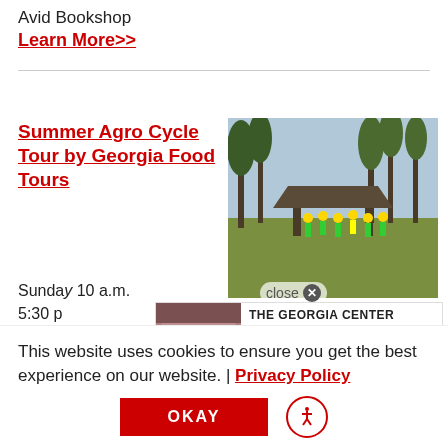Avid Bookshop
Learn More>>
Summer Agro Cycle Tour by Georgia Food Tours
[Figure (photo): Outdoor event photo showing cyclists/people in high-visibility vests near a pavilion with trees in the background]
close
Sunday 10 a.m.
5:30 p
[Figure (photo): Hotel room photo showing a bed with white and red linens]
THE GEORGIA CENTER
The only hotel on UGA's campus
LEARN MORE >
This website uses cookies to ensure you get the best experience on our website. | Privacy Policy
OKAY